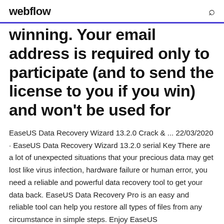webflow
winning. Your email address is required only to participate (and to send the license to you if you win) and won't be used for
EaseUS Data Recovery Wizard 13.2.0 Crack & ... 22/03/2020 · EaseUS Data Recovery Wizard 13.2.0 serial Key There are a lot of unexpected situations that your precious data may get lost like virus infection, hardware failure or human error, you need a reliable and powerful data recovery tool to get your data back. EaseUS Data Recovery Pro is an easy and reliable tool can help you restore all types of files from any circumstance in simple steps. Enjoy EaseUS